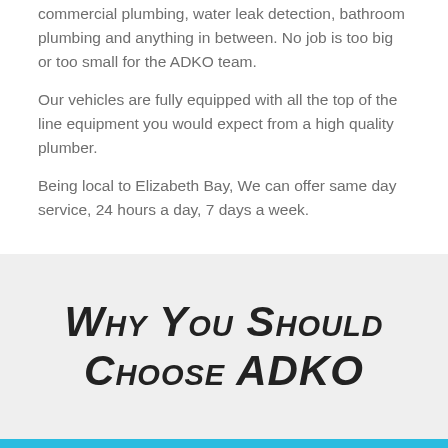commercial plumbing, water leak detection, bathroom plumbing and anything in between. No job is too big or too small for the ADKO team.
Our vehicles are fully equipped with all the top of the line equipment you would expect from a high quality plumber.
Being local to Elizabeth Bay, We can offer same day service, 24 hours a day, 7 days a week.
Why You Should Choose ADKO
Call Us